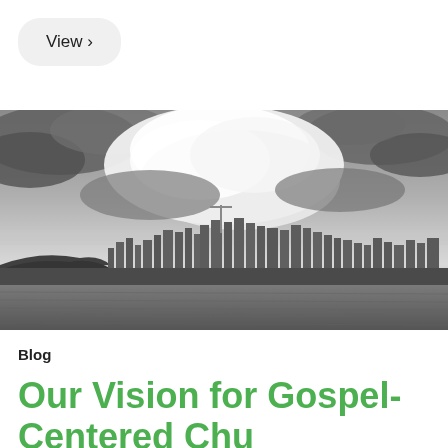View >
[Figure (photo): Black and white panoramic cityscape photograph showing a city skyline with tall buildings reflected over water, under dramatic cloudy sky with bright cloud formations in the center]
Blog
Our Vision for Gospel-Centered Churches